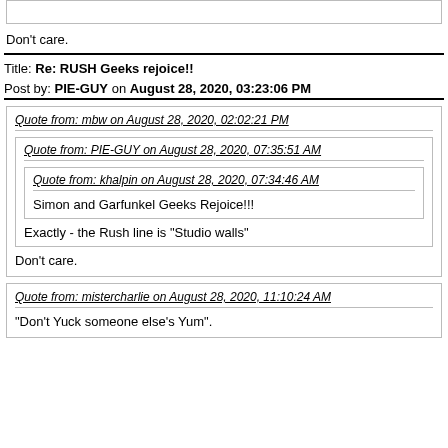Don't care.
Title: Re: RUSH Geeks rejoice!!
Post by: PIE-GUY on August 28, 2020, 03:23:06 PM
Quote from: mbw on August 28, 2020, 02:02:21 PM
Quote from: PIE-GUY on August 28, 2020, 07:35:51 AM
Quote from: khalpin on August 28, 2020, 07:34:46 AM
Simon and Garfunkel Geeks Rejoice!!!
Exactly - the Rush line is "Studio walls"
Don't care.
Quote from: mistercharlie on August 28, 2020, 11:10:24 AM
"Don't Yuck someone else's Yum".